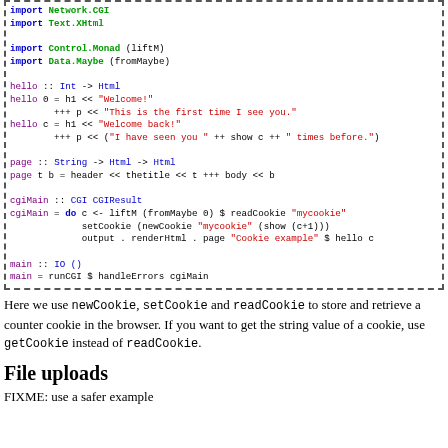[Figure (screenshot): Haskell code block with dashed border showing import statements, hello function, page function, cgiMain, and main definitions with syntax highlighting in blue, green, red, and black]
Here we use newCookie, setCookie and readCookie to store and retrieve a counter cookie in the browser. If you want to get the string value of a cookie, use getCookie instead of readCookie.
File uploads
FIXME: use a safer example